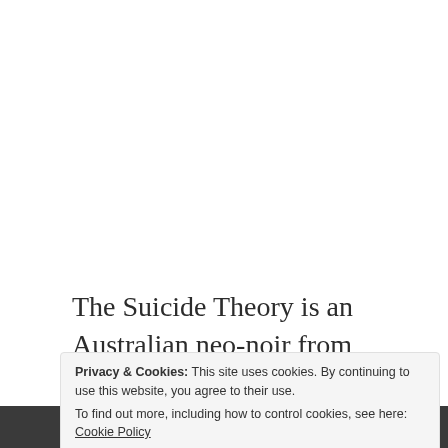The Suicide Theory is an Australian neo-noir from director Dru Brown and writer Michael Kosniah. This film revolves around our two
Privacy & Cookies: This site uses cookies. By continuing to use this website, you agree to their use.
To find out more, including how to control cookies, see here: Cookie Policy
[Figure (photo): Dark photo strip at the bottom of the page, showing a partially visible face or scene]